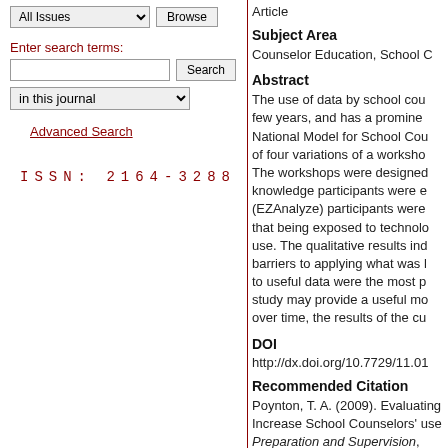All Issues | Browse
Enter search terms:
Search | in this journal
Advanced Search
ISSN: 2164-3288
Article
Subject Area
Counselor Education, School C
Abstract
The use of data by school cou... few years, and has a promine... National Model for School Cou... of four variations of a worksho... The workshops were designed... knowledge participants were e... (EZAnalyze) participants were... that being exposed to technolo... use. The qualitative results ind... barriers to applying what was l... to useful data were the most p... study may provide a useful mo... over time, the results of the cu...
DOI
http://dx.doi.org/10.7729/11.01
Recommended Citation
Poynton, T. A. (2009). Evaluating Increase School Counselors' use Preparation and Supervision, 1(1)